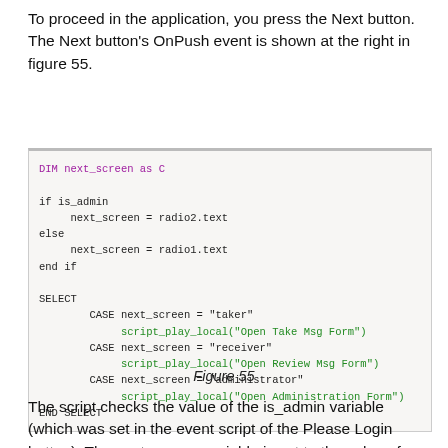To proceed in the application, you press the Next button. The Next button's OnPush event is shown at the right in figure 55.
[Figure (screenshot): Code listing showing a script with DIM, if/else, and SELECT CASE statements. Purple keywords and green function calls on a light beige background with border.]
Figure 55
The script checks the value of the is_admin variable (which was set in the event script of the Please Login button). The next_screen variable is set to the value of